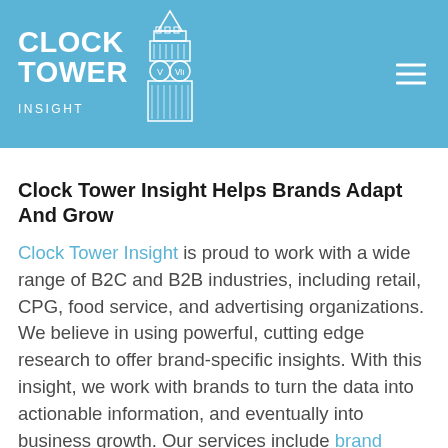[Figure (logo): Clock Tower Insight logo with clock tower illustration on a blue background header banner]
Clock Tower Insight Helps Brands Adapt And Grow
Clock Tower Insight is proud to work with a wide range of B2C and B2B industries, including retail, CPG, food service, and advertising organizations. We believe in using powerful, cutting edge research to offer brand-specific insights. With this insight, we work with brands to turn the data into actionable information, and eventually into business growth. Our services include brand positioning, customer experience